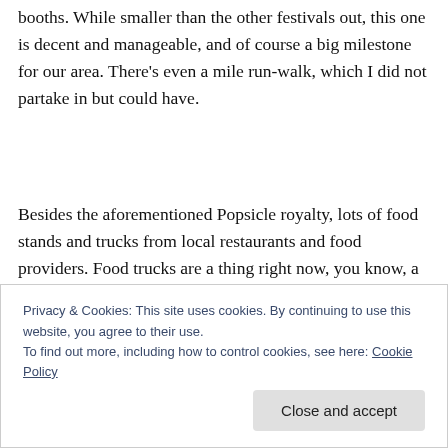booths. While smaller than the other festivals out, this one is decent and manageable, and of course a big milestone for our area. There's even a mile run-walk, which I did not partake in but could have.
Besides the aforementioned Popsicle royalty, lots of food stands and trucks from local restaurants and food providers. Food trucks are a thing right now, you know, a Thing, and I was attacked by mobile culinary enterprises—
that (arguably) Atlanta's best burger joint was just a few
Privacy & Cookies: This site uses cookies. By continuing to use this website, you agree to their use.
To find out more, including how to control cookies, see here: Cookie Policy